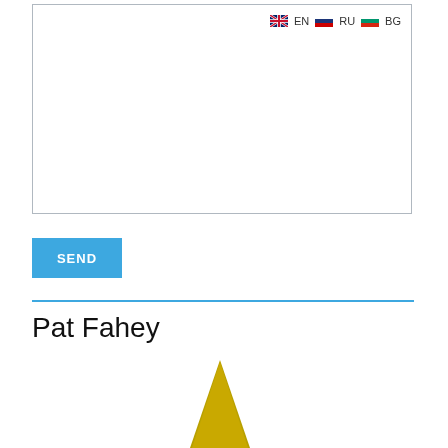[Figure (screenshot): White box with border, containing language selector (EN, RU, BG flags) in top right corner]
EN
RU
BG
SEND
Pat Fahey
[Figure (logo): Gold/yellow triangular arrow shape pointing upward]